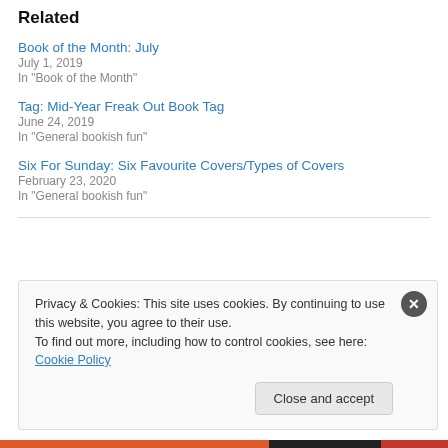Related
Book of the Month: July
July 1, 2019
In "Book of the Month"
Tag: Mid-Year Freak Out Book Tag
June 24, 2019
In "General bookish fun"
Six For Sunday: Six Favourite Covers/Types of Covers
February 23, 2020
In "General bookish fun"
Privacy & Cookies: This site uses cookies. By continuing to use this website, you agree to their use.
To find out more, including how to control cookies, see here: Cookie Policy